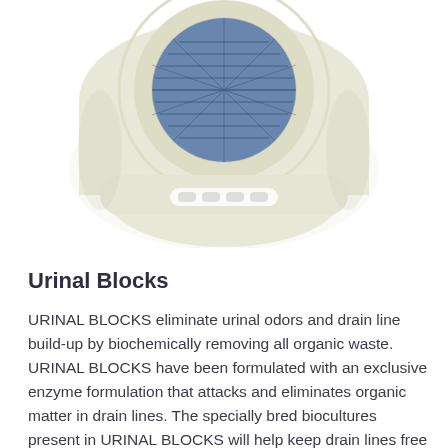[Figure (photo): Top-down view of a urinal screen/block product — a cream/white circular urinal mat with radiating bristle-like tines around its perimeter and a blue patterned center insert, viewed from above against a white background.]
Urinal Blocks
URINAL BLOCKS eliminate urinal odors and drain line build-up by biochemically removing all organic waste. URINAL BLOCKS have been formulated with an exclusive enzyme formulation that attacks and eliminates organic matter in drain lines. The specially bred biocultures present in URINAL BLOCKS will help keep drain lines free flowing.